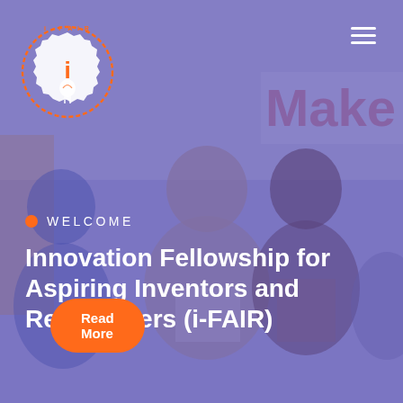[Figure (logo): i-FAIR logo: orange gear/badge shape with white 'i' inside, lightbulb below, circular text reading 'Innovation Fellowship for Aspiring Inventors and Researchers']
[Figure (photo): Group photo of smiling people in a makerspace with purple/blue overlay; 'Make' signage visible in background]
WELCOME
Innovation Fellowship for Aspiring Inventors and Researchers (i-FAIR)
Read More